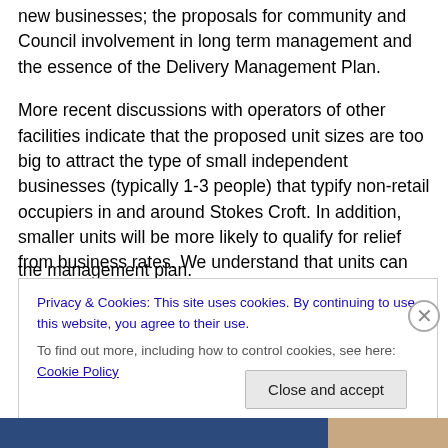new businesses; the proposals for community and Council involvement in long term management and the essence of the Delivery Management Plan.
More recent discussions with operators of other facilities indicate that the proposed unit sizes are too big to attract the type of small independent businesses (typically 1-3 people) that typify non-retail occupiers in and around Stokes Croft. In addition, smaller units will be more likely to qualify for relief from business rates. We understand that units can be sub-divided but this should be written into the management plan.
Privacy & Cookies: This site uses cookies. By continuing to use this website, you agree to their use.
To find out more, including how to control cookies, see here: Cookie Policy